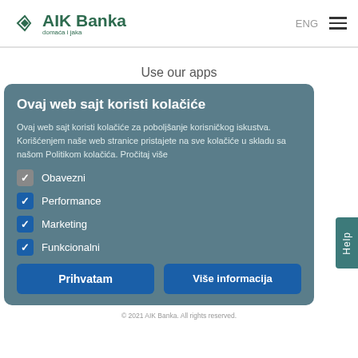[Figure (logo): AIK Banka logo with diamond shape icon and text 'domaća i jaka']
ENG ≡
Use our apps
[Figure (screenshot): Google Play store download button with colorful play triangle icon and text 'НАБАВИТЕ НА Google Play']
[Figure (screenshot): Apple App Store download button with apple icon and text 'Download on the App Store']
Ovaj web sajt koristi kolačiće
Ovaj web sajt koristi kolačiće za poboljšanje korisničkog iskustva. Korišćenjem naše web stranice pristajete na sve kolačiće u skladu sa našom Politikom kolačića. Pročitaj više
Obavezni
Performance
Marketing
Funkcionalni
Prihvatam
Više informacija
© 2021 AIK Banka. All rights reserved.